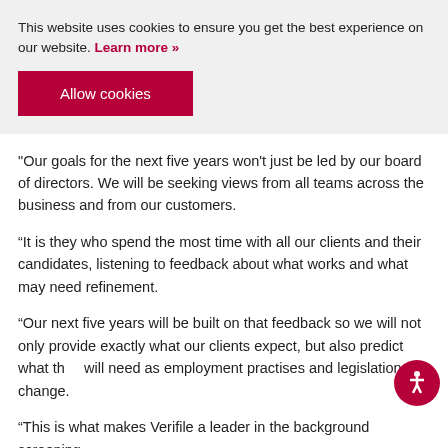This website uses cookies to ensure you get the best experience on our website. Learn more »
Allow cookies
"Our goals for the next five years won't just be led by our board of directors. We will be seeking views from all teams across the business and from our customers.
“It is they who spend the most time with all our clients and their candidates, listening to feedback about what works and what may need refinement.
“Our next five years will be built on that feedback so we will not only provide exactly what our clients expect, but also predict what they will need as employment practises and legislations change.
“This is what makes Verifile a leader in the background screening